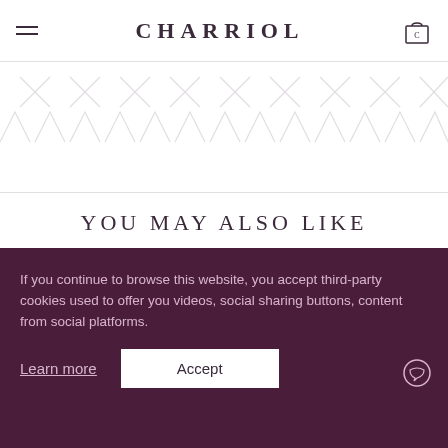CHARRIOL
[Figure (illustration): Repeating decorative cable/chain pattern with X and A shapes in light gray on white background]
YOU MAY ALSO LIKE
[Figure (photo): Gray leather wallet/card holder product photo]
[Figure (photo): Black patterned crossbody bag with chain strap product photo]
If you continue to browse this website, you accept third-party cookies used to offer you videos, social sharing buttons, content from social platforms.
Learn more
Accept